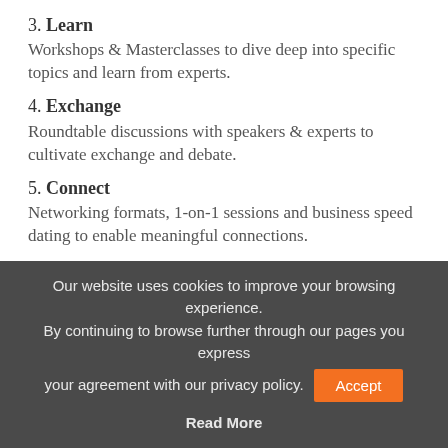3. Learn
Workshops & Masterclasses to dive deep into specific topics and learn from experts.
4. Exchange
Roundtable discussions with speakers & experts to cultivate exchange and debate.
5. Connect
Networking formats, 1-on-1 sessions and business speed dating to enable meaningful connections.
Who should attend?
EXECfintech is made for:
Our website uses cookies to improve your browsing experience. By continuing to browse further through our pages you express your agreement with our privacy policy.